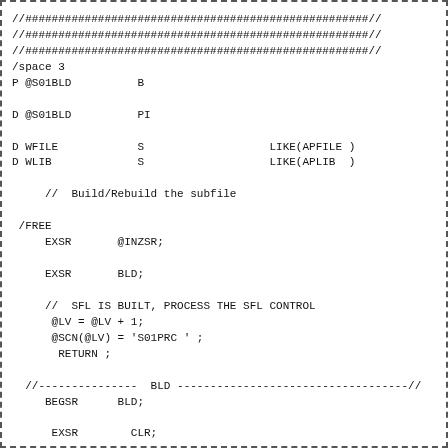//####################################################//
//####################################################//
//####################################################//
/space 3
P @S01BLD          B

D @S01BLD          PI

D WFILE            S                   LIKE(APFILE )
D WLIB             S                   LIKE(APLIB  )

     //  Build/Rebuild the subfile

 /FREE
     EXSR       @INZSR;

     EXSR       BLD;

     //  SFL IS BUILT, PROCESS THE SFL CONTROL
      @LV = @LV + 1;
      @SCN(@LV) = 'S01PRC ' ;
       RETURN ;

  //---------------  BLD -----------------------------------//
     BEGSR      BLD;

      EXSR        CLR;


     SETLL 1    QWHFDACP;

     DOW @LOOP = @LOOP;
     READ        QWHFDACP;
     IF %EOF;
      LEAVE;
     ENDIF;